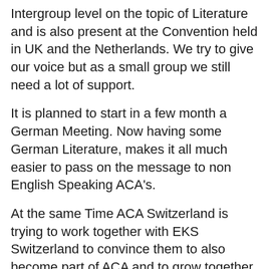Intergroup level on the topic of Literature and is also present at the Convention held in UK and the Netherlands. We try to give our voice but as a small group we still need a lot of support.
It is planned to start in a few month a German Meeting. Now having some German Literature, makes it all much easier to pass on the message to non English Speaking ACA's.
At the same Time ACA Switzerland is trying to work together with EKS Switzerland to convince them to also become part of ACA and to grow together as one Unity. One member already joined our group in Zürich.
Let's see how Attraction, not promotion is doing its Work in Switzerland.
Best wishes
For ACA Switzerland in Service: